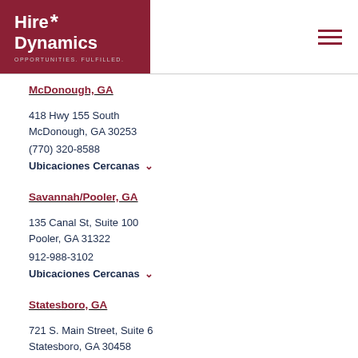[Figure (logo): Hire Dynamics logo with red background, white text reading Hire Dynamics, tagline OPPORTUNITIES FULFILLED.]
McDonough, GA
418 Hwy 155 South
McDonough, GA 30253
(770) 320-8588
Ubicaciones Cercanas ˅
Savannah/Pooler, GA
135 Canal St, Suite 100
Pooler, GA 31322
912-988-3102
Ubicaciones Cercanas ˅
Statesboro, GA
721 S. Main Street, Suite 6
Statesboro, GA 30458